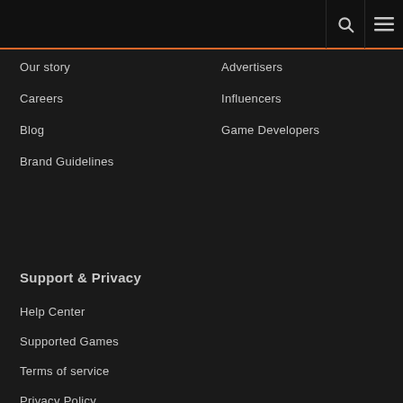Our story
Careers
Blog
Brand Guidelines
Advertisers
Influencers
Game Developers
Support & Privacy
Help Center
Supported Games
Terms of service
Privacy Policy
Overwolf Alphas
Licenses